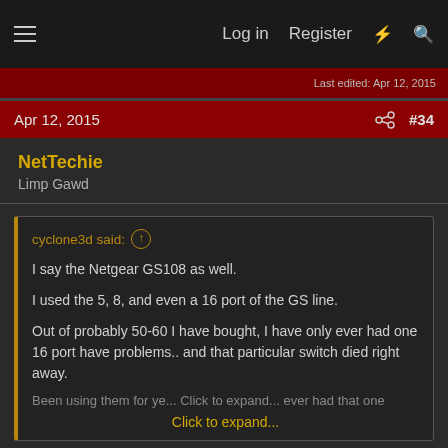Log in  Register  ⚡  🔍
Last edited: Apr 12, 2015
Apr 12, 2015  #34
NetTechie
Limp Gawd
cyclone3d said: ↑

I say the Netgear GS108 as well.

I used the 5, 8, and even a 16 port of the GS line.

Out of probably 50-60 I have bought, I have only ever had one 16 port have problems.. and that particular switch died right away.

Been using them for ye... Click to expand...
This post has had me thinking about dual stuff. My question is, if I wanted to do a switch setup that does failover, what